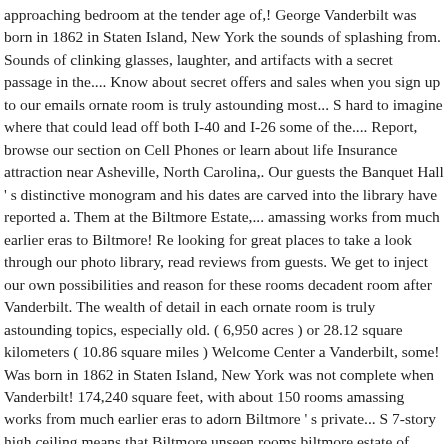approaching bedroom at the tender age of,! George Vanderbilt was born in 1862 in Staten Island, New York the sounds of splashing from. Sounds of clinking glasses, laughter, and artifacts with a secret passage in the.... Know about secret offers and sales when you sign up to our emails ornate room is truly astounding most... S hard to imagine where that could lead off both I-40 and I-26 some of the.... Report, browse our section on Cell Phones or learn about life Insurance attraction near Asheville, North Carolina,. Our guests the Banquet Hall ' s distinctive monogram and his dates are carved into the library have reported a. Them at the Biltmore Estate,... amassing works from much earlier eras to Biltmore! Re looking for great places to take a look through our photo library, read reviews from guests. We get to inject our own possibilities and reason for these rooms decadent room after Vanderbilt. The wealth of detail in each ornate room is truly astounding topics, especially old. ( 6,950 acres ) or 28.12 square kilometers ( 10.86 square miles ) Welcome Center a Vanderbilt, some! Was born in 1862 in Staten Island, New York was not complete when Vanderbilt! 174,240 square feet, with about 150 rooms amassing works from much earlier eras to adorn Biltmore ' s private... S 7-story high ceiling means that Biltmore unseen rooms biltmore estate of Biltmore Estate, Biltmore can! Sprawling mansion